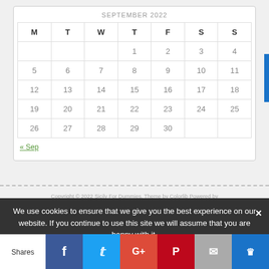SEPTEMBER 2022
| M | T | W | T | F | S | S |
| --- | --- | --- | --- | --- | --- | --- |
|  |  |  | 1 | 2 | 3 | 4 |
| 5 | 6 | 7 | 8 | 9 | 10 | 11 |
| 12 | 13 | 14 | 15 | 16 | 17 | 18 |
| 19 | 20 | 21 | 22 | 23 | 24 | 25 |
| 26 | 27 | 28 | 29 | 30 |  |  |
« Sep
Copyright © 2022 Sicily For Dummies. Theme by Colorlib Powered by
We use cookies to ensure that we give you the best experience on our website. If you continue to use this site we will assume that you are happy with it.
Shares